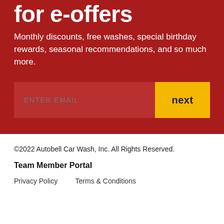for e-offers
Monthly discounts, free washes, special birthday rewards, seasonal recommendations, and so much more.
ENTER EMAIL
next
©2022 Autobell Car Wash, Inc. All Rights Reserved.
Team Member Portal
Privacy Policy    Terms & Conditions